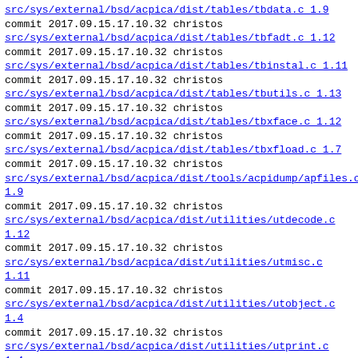src/sys/external/bsd/acpica/dist/tables/tbdata.c 1.9
commit 2017.09.15.17.10.32 christos
src/sys/external/bsd/acpica/dist/tables/tbfadt.c 1.12
commit 2017.09.15.17.10.32 christos
src/sys/external/bsd/acpica/dist/tables/tbinstal.c 1.11
commit 2017.09.15.17.10.32 christos
src/sys/external/bsd/acpica/dist/tables/tbutils.c 1.13
commit 2017.09.15.17.10.32 christos
src/sys/external/bsd/acpica/dist/tables/tbxface.c 1.12
commit 2017.09.15.17.10.32 christos
src/sys/external/bsd/acpica/dist/tables/tbxfload.c 1.7
commit 2017.09.15.17.10.32 christos
src/sys/external/bsd/acpica/dist/tools/acpidump/apfiles.c 1.9
commit 2017.09.15.17.10.32 christos
src/sys/external/bsd/acpica/dist/utilities/utdecode.c 1.12
commit 2017.09.15.17.10.32 christos
src/sys/external/bsd/acpica/dist/utilities/utmisc.c 1.11
commit 2017.09.15.17.10.32 christos
src/sys/external/bsd/acpica/dist/utilities/utobject.c 1.4
commit 2017.09.15.17.10.32 christos
src/sys/external/bsd/acpica/dist/utilities/utprint.c 1.4
commit 2017.09.15.17.10.32 christos
src/sys/external/bsd/acpica/dist/utilities/uttrack.c 1.13
commit 2017.09.15.17.10.32 christos
build: failed with 211336 lines of log
commit 2017.09.15.17.17.05 christos